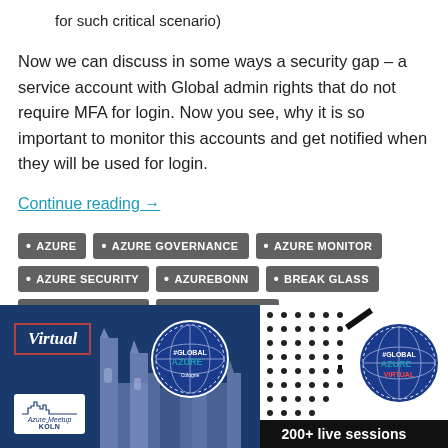for such critical scenario)
Now we can discuss in some ways a security gap – a service account with Global admin rights that do not require MFA for login. Now you see, why it is so important to monitor this accounts and get notified when they will be used for login.
Continue reading →
AZURE
AZURE GOVERNANCE
AZURE MONITOR
AZURE SECURITY
AZUREBONN
BREAK GLASS
IDENTITY SUMMIT
LOG ANALYTICS
[Figure (illustration): Banner image showing Global Azure Virtual event with Azure Meetup Köln logo, a cathedral silhouette, #GlobalAzure badge, dot pattern, and '200+ live sessions' text]